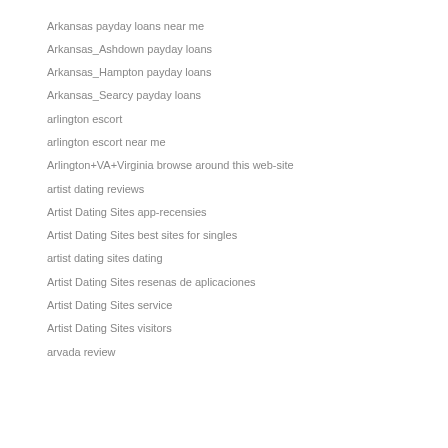Arkansas payday loans near me
Arkansas_Ashdown payday loans
Arkansas_Hampton payday loans
Arkansas_Searcy payday loans
arlington escort
arlington escort near me
Arlington+VA+Virginia browse around this web-site
artist dating reviews
Artist Dating Sites app-recensies
Artist Dating Sites best sites for singles
artist dating sites dating
Artist Dating Sites resenas de aplicaciones
Artist Dating Sites service
Artist Dating Sites visitors
arvada review